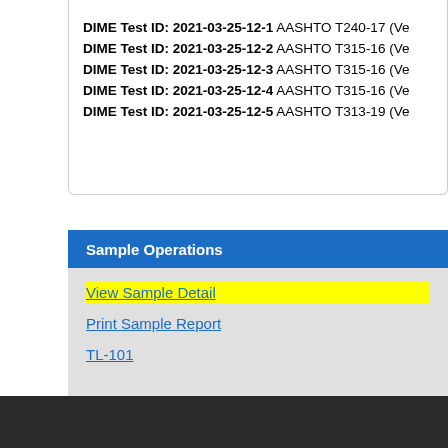DIME Test ID: 2021-03-25-12-1 AASHTO T240-17 (Ve
DIME Test ID: 2021-03-25-12-2 AASHTO T315-16 (Ve
DIME Test ID: 2021-03-25-12-3 AASHTO T315-16 (Ve
DIME Test ID: 2021-03-25-12-4 AASHTO T315-16 (Ve
DIME Test ID: 2021-03-25-12-5 AASHTO T313-19 (Ve
Sample Operations
View Sample Detail
Print Sample Report
TL-101